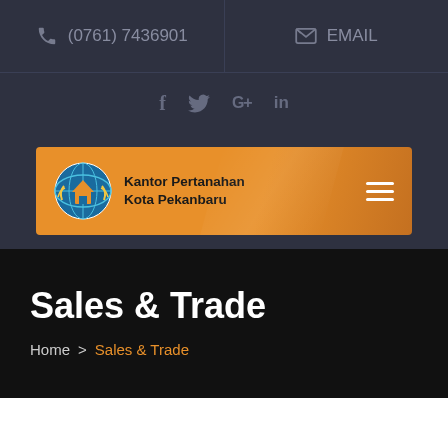(0761) 7436901  EMAIL
[Figure (logo): Social media icons: f (Facebook), bird (Twitter), G+ (Google Plus), in (LinkedIn) on dark background]
[Figure (logo): Kantor Pertanahan Kota Pekanbaru logo with globe and wheat icon on orange navigation bar with hamburger menu]
Sales & Trade
Home > Sales & Trade